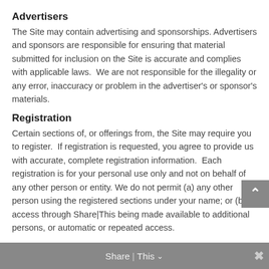Advertisers
The Site may contain advertising and sponsorships. Advertisers and sponsors are responsible for ensuring that material submitted for inclusion on the Site is accurate and complies with applicable laws.  We are not responsible for the illegality or any error, inaccuracy or problem in the advertiser's or sponsor's materials.
Registration
Certain sections of, or offerings from, the Site may require you to register.  If registration is requested, you agree to provide us with accurate, complete registration information.  Each registration is for your personal use only and not on behalf of any other person or entity. We do not permit (a) any other person using the registered sections under your name; or (b) access through Share|This being made available to additional persons, or automatic or repeated access.
Share This